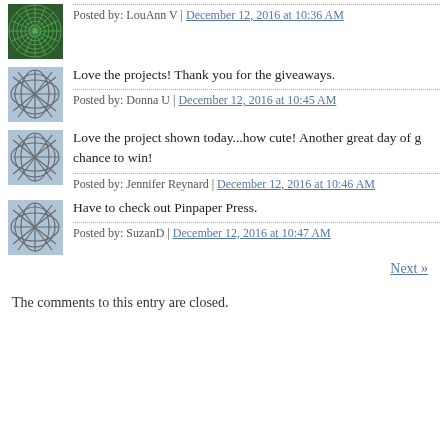Posted by: LouAnn V | December 12, 2016 at 10:36 AM
Love the projects! Thank you for the giveaways.
Posted by: Donna U | December 12, 2016 at 10:45 AM
Love the project shown today...how cute! Another great day of g... chance to win!
Posted by: Jennifer Reynard | December 12, 2016 at 10:46 AM
Have to check out Pinpaper Press.
Posted by: SuzanD | December 12, 2016 at 10:47 AM
Next »
The comments to this entry are closed.